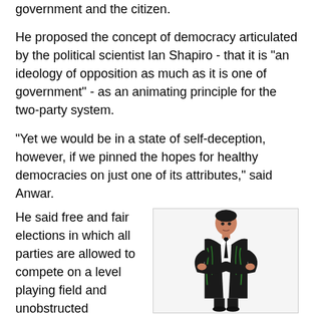government and the citizen.
He proposed the concept of democracy articulated by the political scientist Ian Shapiro - that it is "an ideology of opposition as much as it is one of government" - as an animating principle for the two-party system.
"Yet we would be in a state of self-deception, however, if we pinned the hopes for healthy democracies on just one of its attributes," said Anwar.
He said free and fair elections in which all parties are allowed to compete on a level playing field and unobstructed governance by those elected
[Figure (illustration): Illustration of a man in a dark suit with arms crossed, standing with a serious expression, rendered in a stylized graphic art style with green highlights on the suit.]